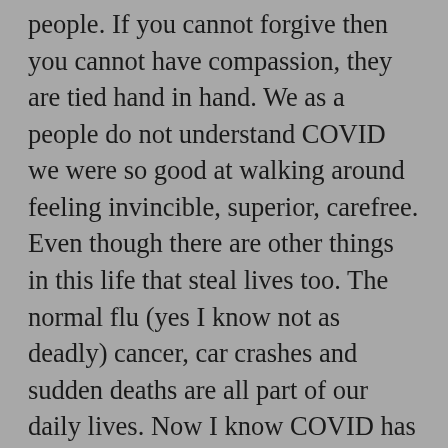people. If you cannot forgive then you cannot have compassion, they are tied hand in hand. We as a people do not understand COVID we were so good at walking around feeling invincible, superior, carefree. Even though there are other things in this life that steal lives too. The normal flu (yes I know not as deadly) cancer, car crashes and sudden deaths are all part of our daily lives. Now I know COVID has taken way too many lives and it serious and I know it has stolen almost an entire generation away from us. Rather they passed away or not to lock up our parents and grandparents into homes is